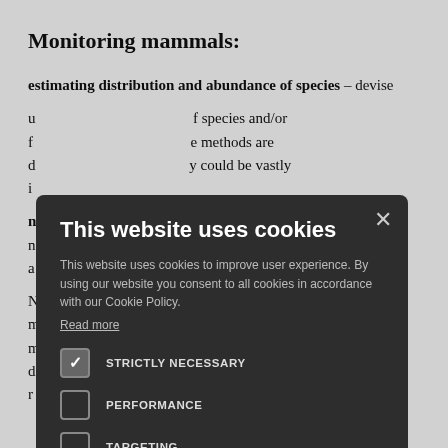Monitoring mammals:
estimating distribution and abundance of species – devise understanding of species and/or field... methods are d... y could be vastly i...
n... ed, devise a n... nt a sustainable, a...
N... tions for marine m... applications for m... eed to d... ted in any r...
[Figure (screenshot): Cookie consent modal dialog with dark background. Title: 'This website uses cookies'. Body text about cookie policy. Checkboxes for STRICTLY NECESSARY (checked), PERFORMANCE (unchecked), TARGETING (unchecked). Buttons: SAVE & CLOSE (yellow-green), DECLINE ALL (outlined). SHOW DETAILS link at bottom. X close button top right.]